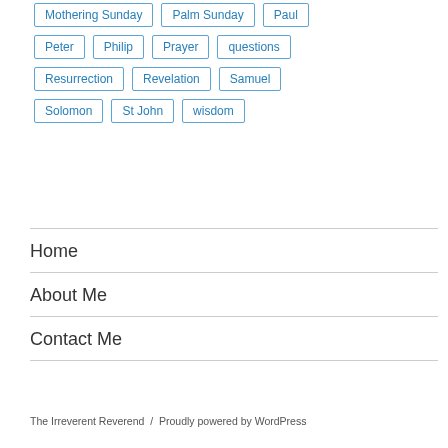Mothering Sunday
Palm Sunday
Paul
Peter
Philip
Prayer
questions
Resurrection
Revelation
Samuel
Solomon
St John
wisdom
Home
About Me
Contact Me
The Irreverent Reverend / Proudly powered by WordPress